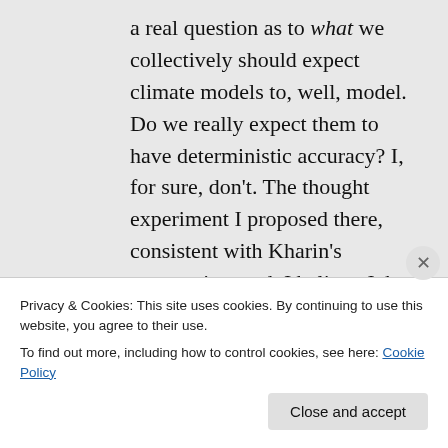a real question as to what we collectively should expect climate models to, well, model. Do we really expect them to have deterministic accuracy? I, for sure, don't. The thought experiment I proposed there, consistent with Kharin's perspective, and, I believe John Carlos Baez's, is that even if the Earth's climate state could be reset perfectly back to some point in time
Privacy & Cookies: This site uses cookies. By continuing to use this website, you agree to their use.
To find out more, including how to control cookies, see here: Cookie Policy